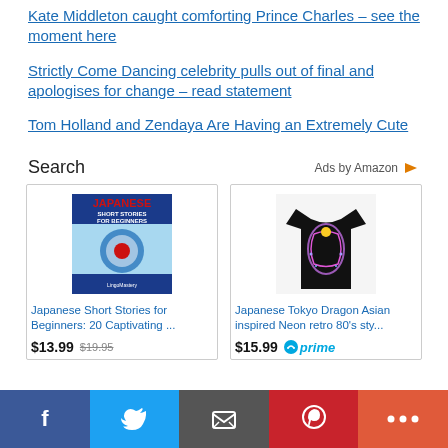Kate Middleton caught comforting Prince Charles – see the moment here
Strictly Come Dancing celebrity pulls out of final and apologises for change – read statement
Tom Holland and Zendaya Are Having an Extremely Cute
Search
Ads by Amazon
[Figure (illustration): Book cover: Japanese Short Stories for Beginners by Lingo Mastery]
Japanese Short Stories for Beginners: 20 Captivating ... $13.99 $19.95
[Figure (photo): Black t-shirt with Japanese Tokyo Dragon Asian inspired neon retro 80s design]
Japanese Tokyo Dragon Asian inspired Neon retro 80's sty... $15.99 prime